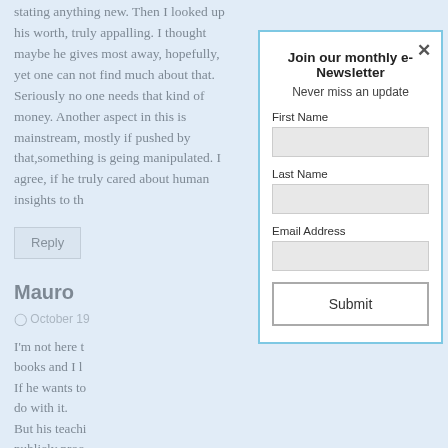stating anything new. Then I looked up his worth, truly appalling. I thought maybe he gives most away, hopefully, yet one can not find much about that. Seriously no one needs that kind of money. Another aspect in this is mainstream, mostly if pushed by that,something is geing manipulated. I agree, if he truly cared about human... insights to th...
Reply
Mauro
October 19...
I'm not here t... books and I l... If he wants to... do with it. But his teachi... publicly proc... I would neve... myself and I a... There is anot... I have never c...
Join our monthly e-Newsletter
Never miss an update
First Name
Last Name
Email Address
Submit